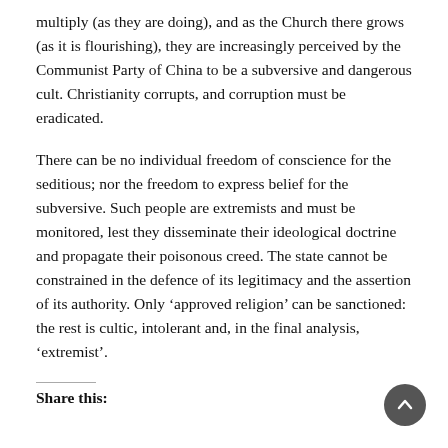multiply (as they are doing), and as the Church there grows (as it is flourishing), they are increasingly perceived by the Communist Party of China to be a subversive and dangerous cult. Christianity corrupts, and corruption must be eradicated.
There can be no individual freedom of conscience for the seditious; nor the freedom to express belief for the subversive. Such people are extremists and must be monitored, lest they disseminate their ideological doctrine and propagate their poisonous creed. The state cannot be constrained in the defence of its legitimacy and the assertion of its authority. Only ‘approved religion’ can be sanctioned: the rest is cultic, intolerant and, in the final analysis, ‘extremist’.
Share this: